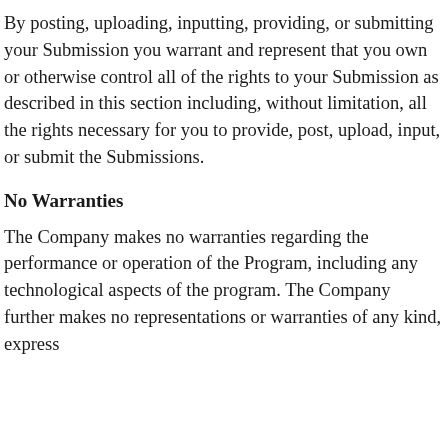By posting, uploading, inputting, providing, or submitting your Submission you warrant and represent that you own or otherwise control all of the rights to your Submission as described in this section including, without limitation, all the rights necessary for you to provide, post, upload, input, or submit the Submissions.
No Warranties
The Company makes no warranties regarding the performance or operation of the Program, including any technological aspects of the program. The Company further makes no representations or warranties of any kind, express